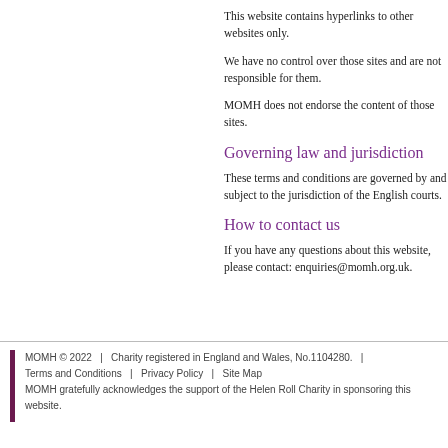This website contains hyperlinks to other websites only.
We have no control over those sites and are not responsible for them.
MOMH does not endorse the content of those sites.
Governing law and jurisdiction
These terms and conditions are governed by and subject to the jurisdiction of the English courts.
How to contact us
If you have any questions about this website, please contact: enquiries@momh.org.uk.
MOMH © 2022   |   Charity registered in England and Wales, No.1104280.   |   Terms and Conditions   |   Privacy Policy   |   Site Map   MOMH gratefully acknowledges the support of the Helen Roll Charity in sponsoring this website.